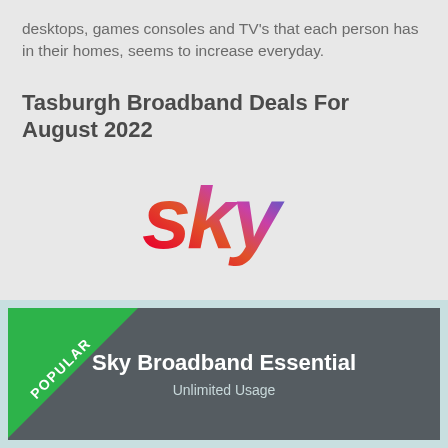desktops, games consoles and TV's that each person has in their homes, seems to increase everyday.
Tasburgh Broadband Deals For August 2022
[Figure (logo): Sky logo with gradient colors from red/orange to purple/blue]
[Figure (infographic): Sky Broadband Essential product card with 'POPULAR' badge in green triangle, dark grey background, white bold title 'Sky Broadband Essential' and subtitle 'Unlimited Usage']